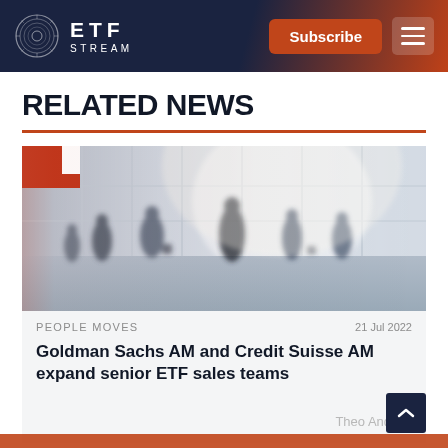ETF STREAM — Subscribe
RELATED NEWS
[Figure (photo): Blurred motion photo of people walking through a bright modern building lobby with large windows]
PEOPLE MOVES   21 Jul 2022
Goldman Sachs AM and Credit Suisse AM expand senior ETF sales teams
Theo Andrew